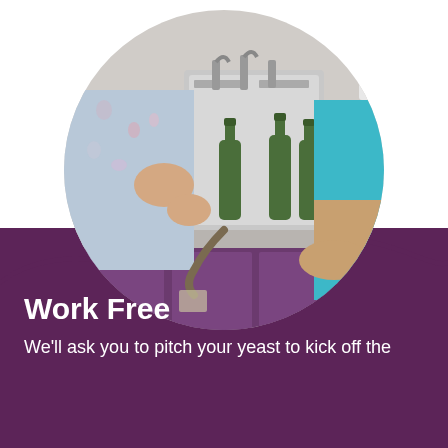[Figure (photo): Circular photo of two people filling green wine bottles using a bottling machine in a winery or brew store. One person wearing a floral top holds a green bottle under the filling spout, another person in a teal shirt stands nearby. Silver/stainless steel equipment and purple cabinets visible.]
Work Free
We'll ask you to pitch your yeast to kick off the